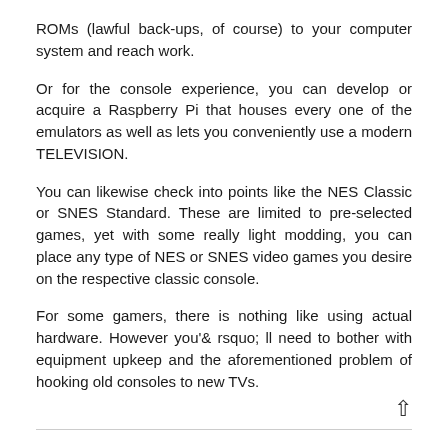ROMs (lawful back-ups, of course) to your computer system and reach work.
Or for the console experience, you can develop or acquire a Raspberry Pi that houses every one of the emulators as well as lets you conveniently use a modern TELEVISION.
You can likewise check into points like the NES Classic or SNES Standard. These are limited to pre-selected games, yet with some really light modding, you can place any type of NES or SNES video games you desire on the respective classic console.
For some gamers, there is nothing like using actual hardware. However you'& rsquo; ll need to bother with equipment upkeep and the aforementioned problem of hooking old consoles to new TVs.